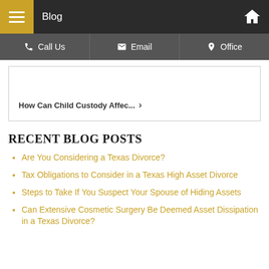Blog
Call Us | Email | Office
How Can Child Custody Affec... ›
RECENT BLOG POSTS
Are You Considering a Texas Divorce?
Tax Obligations to Consider in a Texas High Asset Divorce
Steps to Take If You Suspect Your Spouse of Hiding Assets
Can Extensive Cosmetic Surgery Be Deemed Asset Dissipation in a Texas Divorce?